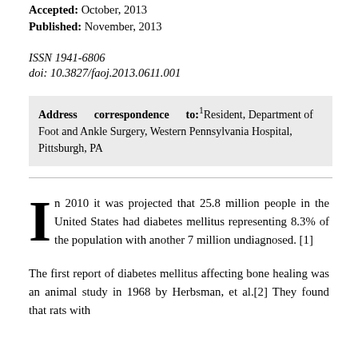Accepted: October, 2013
Published: November, 2013
ISSN 1941-6806
doi: 10.3827/faoj.2013.0611.001
Address correspondence to:1 Resident, Department of Foot and Ankle Surgery, Western Pennsylvania Hospital, Pittsburgh, PA
In 2010 it was projected that 25.8 million people in the United States had diabetes mellitus representing 8.3% of the population with another 7 million undiagnosed. [1]
The first report of diabetes mellitus affecting bone healing was an animal study in 1968 by Herbsman, et al.[2] They found that rats with